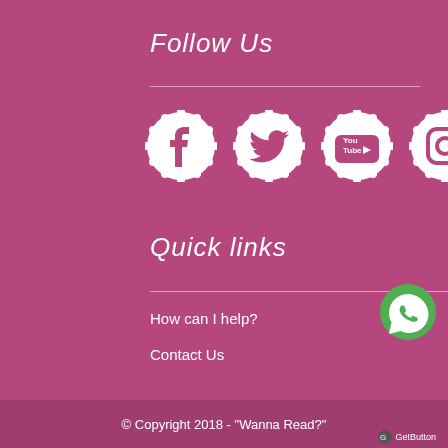Follow Us
[Figure (illustration): Four social media icons (Facebook, Twitter, YouTube, Instagram) as white scalloped circles on pink background]
Quick links
How can I help?
Contact Us
[Figure (illustration): Green WhatsApp button icon in bottom right corner]
© Copyright 2018 - "Wanna Read?"